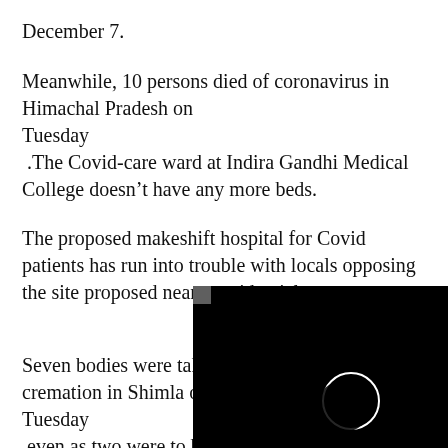December 7.
Meanwhile, 10 persons died of coronavirus in Himachal Pradesh on Tuesday .The Covid-care ward at Indira Gandhi Medical College doesn’t have any more beds.
The proposed makeshift hospital for Covid patients has run into trouble with locals opposing the site proposed near a residential area.
Seven bodies were taken for cremation in Shimla on Tuesday even as two were to be k Wednesday.
[Figure (photo): Black rectangle with a small white circle/crescent shape in the lower right area, partially overlapping the text content.]